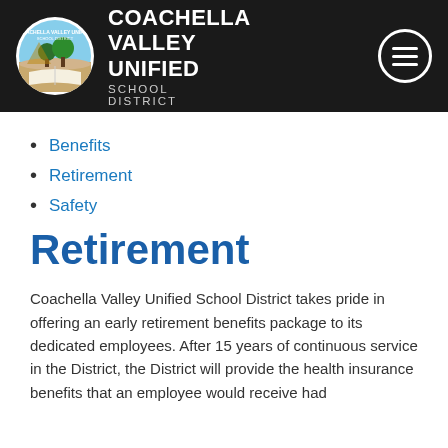COACHELLA VALLEY UNIFIED SCHOOL DISTRICT
Benefits
Retirement
Safety
Retirement
Coachella Valley Unified School District takes pride in offering an early retirement benefits package to its dedicated employees. After 15 years of continuous service in the District, the District will provide the health insurance benefits that an employee would receive had